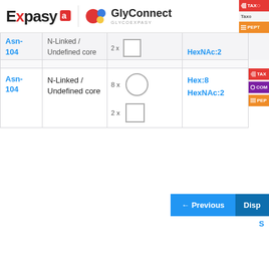[Figure (logo): ExPASy logo with red stylized 'x' and red square icon]
[Figure (logo): GlyConnect logo with colorful blob icon and GLYCOEXPASY subtitle]
| Site | Type | Glycan structure | Composition | Actions |
| --- | --- | --- | --- | --- |
| Asn-104 | N-Linked / Undefined core | 8x circle, 2x square | Hex:8 HexNAc:2 | TAX / COM / PEPT |
| Asn-104 | N-Linked / Undefined core | 8x circle, 2x square | Hex:8 HexNAc:2 | TAX / COM / PEPT |
← Previous  Disp
S